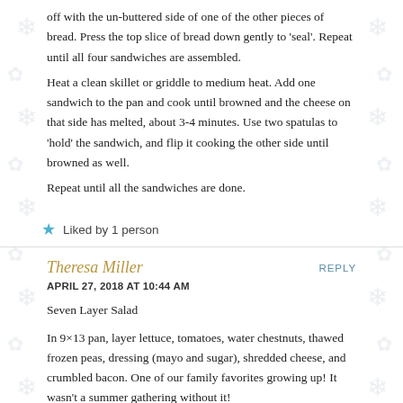off with the un-buttered side of one of the other pieces of bread. Press the top slice of bread down gently to 'seal'. Repeat until all four sandwiches are assembled.
Heat a clean skillet or griddle to medium heat. Add one sandwich to the pan and cook until browned and the cheese on that side has melted, about 3-4 minutes. Use two spatulas to 'hold' the sandwich, and flip it cooking the other side until browned as well.
Repeat until all the sandwiches are done.
★ Liked by 1 person
Theresa Miller
APRIL 27, 2018 AT 10:44 AM
Seven Layer Salad
In 9×13 pan, layer lettuce, tomatoes, water chestnuts, thawed frozen peas, dressing (mayo and sugar), shredded cheese, and crumbled bacon. One of our family favorites growing up! It wasn't a summer gathering without it!